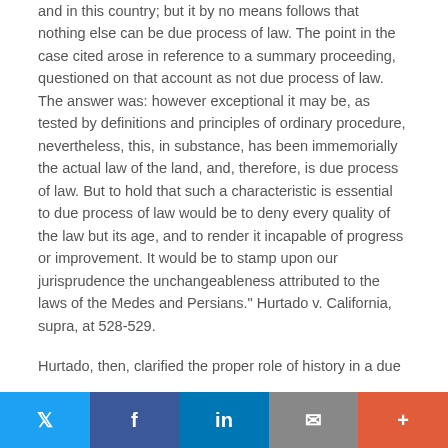and in this country; but it by no means follows that nothing else can be due process of law. The point in the case cited arose in reference to a summary proceeding, questioned on that account as not due process of law. The answer was: however exceptional it may be, as tested by definitions and principles of ordinary procedure, nevertheless, this, in substance, has been immemorially the actual law of the land, and, therefore, is due process of law. But to hold that such a characteristic is essential to due process of law would be to deny every quality of the law but its age, and to render it incapable of progress or improvement. It would be to stamp upon our jurisprudence the unchangeableness attributed to the laws of the Medes and Persians." Hurtado v. California, supra, at 528-529.
Hurtado, then, clarified the proper role of history in a due
Twitter | Facebook | LinkedIn | Email | More